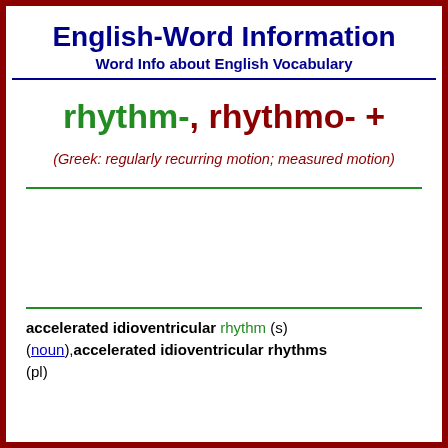English-Word Information
Word Info about English Vocabulary
rhythm-, rhythmo- +
(Greek: regularly recurring motion; measured motion)
accelerated idioventricular rhythm (s) (noun),accelerated idioventricular rhythms (pl)